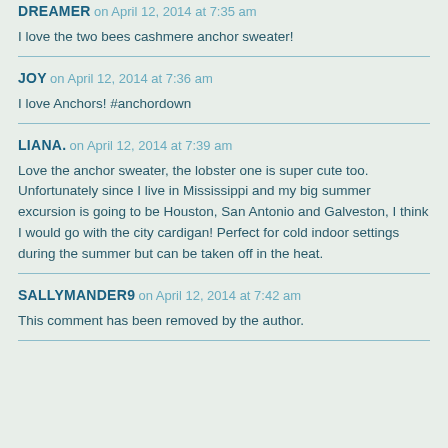DREAMER on April 12, 2014 at 7:35 am
I love the two bees cashmere anchor sweater!
JOY on April 12, 2014 at 7:36 am
I love Anchors! #anchordown
LIANA. on April 12, 2014 at 7:39 am
Love the anchor sweater, the lobster one is super cute too. Unfortunately since I live in Mississippi and my big summer excursion is going to be Houston, San Antonio and Galveston, I think I would go with the city cardigan! Perfect for cold indoor settings during the summer but can be taken off in the heat.
SALLYMANDER9 on April 12, 2014 at 7:42 am
This comment has been removed by the author.